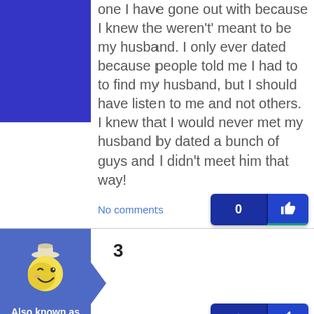one I have gone out with because I knew the weren't' meant to be my husband. I only ever dated because people told me I had to to find my husband, but I should have listen to me and not others. I knew that I would never met my husband by dated a bunch of guys and I didn't meet him that way!
No comments
3
No comments
Also known as Mommy..